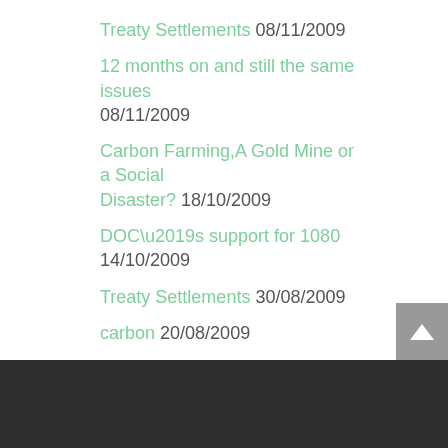Treaty Settlements 08/11/2009
12 months on and still the same issues 08/11/2009
Carbon Farming,A Gold Mine or a Social Disaster? 18/10/2009
DOC’s support for 1080 14/10/2009
Treaty Settlements 30/08/2009
carbon 20/08/2009
Why I started this web site. 19/08/2009